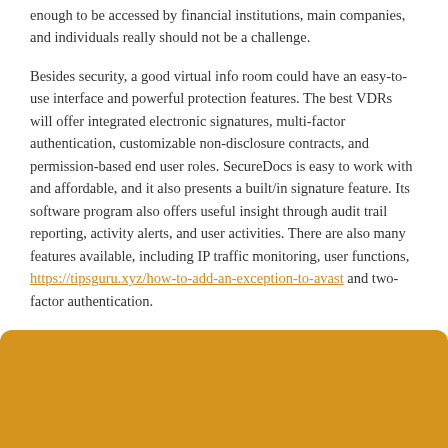enough to be accessed by financial institutions, main companies, and individuals really should not be a challenge.
Besides security, a good virtual info room could have an easy-to-use interface and powerful protection features. The best VDRs will offer integrated electronic signatures, multi-factor authentication, customizable non-disclosure contracts, and permission-based end user roles. SecureDocs is easy to work with and affordable, and it also presents a built/in signature feature. Its software program also offers useful insight through audit trail reporting, activity alerts, and user activities. There are also many features available, including IP traffic monitoring, user functions, https://tipsguru.xyz/how-to-add-an-exception-to-avast and two-factor authentication.
[Figure (other): Golden/amber colored rectangular box at the bottom of the page]